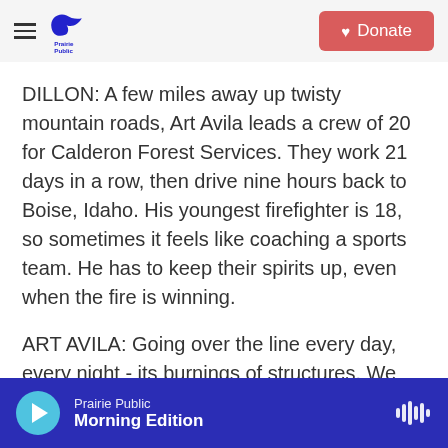Prairie Public | Donate
DILLON: A few miles away up twisty mountain roads, Art Avila leads a crew of 20 for Calderon Forest Services. They work 21 days in a row, then drive nine hours back to Boise, Idaho. His youngest firefighter is 18, so sometimes it feels like coaching a sports team. He has to keep their spirits up, even when the fire is winning.
ART AVILA: Going over the line every day, every night - its burnings of structures. We thought we had contained, but, you know, it jumped the line. But right now, it's - we're in a bad spot.
Prairie Public | Morning Edition